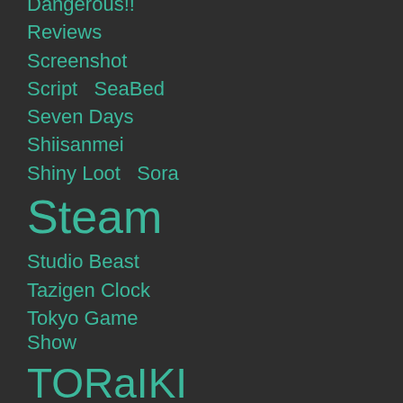Dangerous!!
Reviews
Screenshot
Script  SeaBed
Seven Days
Shiisanmei
Shiny Loot  Sora
Steam
Studio Beast
Tazigen Clock
Tokyo Game Show
TORaIKI
Uncategoriz